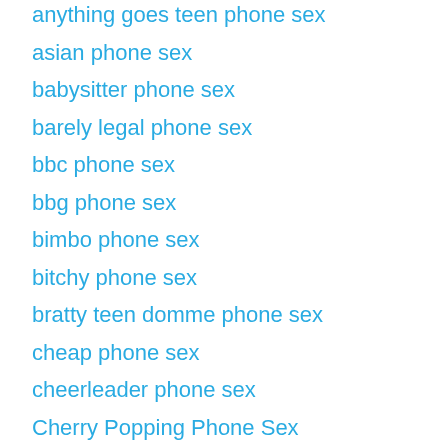anything goes teen phone sex
asian phone sex
babysitter phone sex
barely legal phone sex
bbc phone sex
bbg phone sex
bimbo phone sex
bitchy phone sex
bratty teen domme phone sex
cheap phone sex
cheerleader phone sex
Cherry Popping Phone Sex
coed phone sex
Daddy's girl phone sex